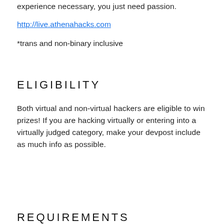experience necessary, you just need passion.
http://live.athenahacks.com
*trans and non-binary inclusive
ELIGIBILITY
Both virtual and non-virtual hackers are eligible to win prizes! If you are hacking virtually or entering into a virtually judged category, make your devpost include as much info as possible.
REQUIREMENTS